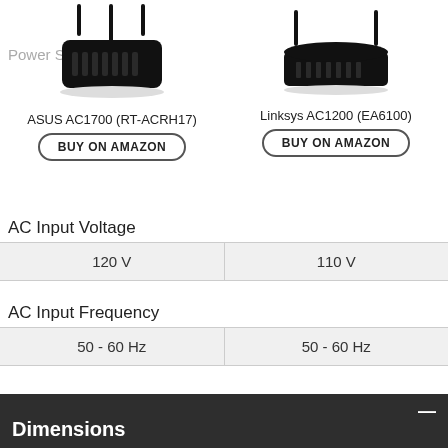[Figure (photo): ASUS AC1700 (RT-ACRH17) router product photo with three antennas]
[Figure (photo): Linksys AC1200 (EA6100) router product photo with two antennas]
ASUS AC1700 (RT-ACRH17)
BUY ON AMAZON
Linksys AC1200 (EA6100)
BUY ON AMAZON
AC Input Voltage
| ASUS AC1700 (RT-ACRH17) | Linksys AC1200 (EA6100) |
| --- | --- |
| 120 V | 110 V |
AC Input Frequency
| ASUS AC1700 (RT-ACRH17) | Linksys AC1200 (EA6100) |
| --- | --- |
| 50 - 60 Hz | 50 - 60 Hz |
Dimensions
Size